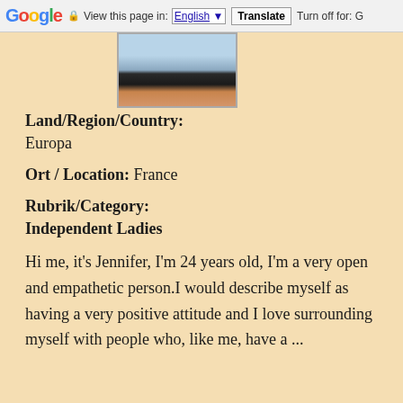Google  View this page in: English [▼]  Translate  Turn off for: G
[Figure (photo): Partial photo of a person cropped at the top of the content area]
Land/Region/Country:
Europa
Ort / Location: France
Rubrik/Category:
Independent Ladies
Hi me, it's Jennifer, I'm 24 years old, I'm a very open and empathetic person.I would describe myself as having a very positive attitude and I love surrounding myself with people who, like me, have a ...